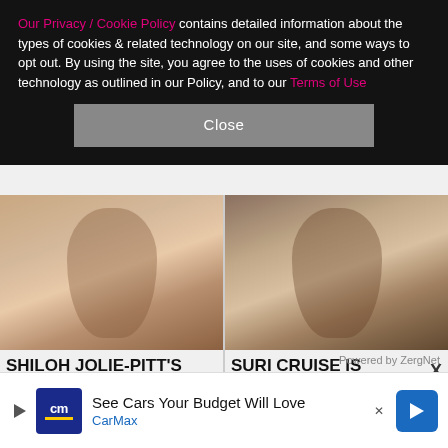Our Privacy / Cookie Policy contains detailed information about the types of cookies & related technology on our site, and some ways to opt out. By using the site, you agree to the uses of cookies and other technology as outlined in our Policy, and to our Terms of Use
[Figure (screenshot): Close button for cookie/privacy banner]
[Figure (photo): Photo of Shiloh Jolie-Pitt, young woman with brown hair and blue eyes]
SHILOH JOLIE-PITT'S TRANSFORMATION HAS BEEN SIMPLY STUNNING
[Figure (photo): Photo of Suri Cruise, smiling young woman with dark hair]
SURI CRUISE IS GROWING UP TO BE STUNNING
Powered by ZergNet
[Figure (photo): Partial photo of blonde woman, bottom row card]
[Figure (photo): Partial photo of brunette woman, bottom row card]
See Cars Your Budget Will Love CarMax